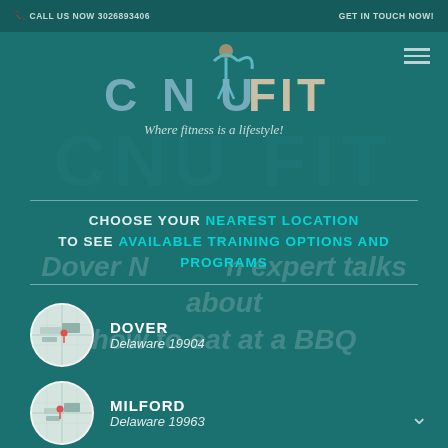CALL US NOW 3026893406   GET IN TOUCH NOW!
[Figure (logo): CNU FIT logo with stylized figure and text 'Where fitness is a lifestyle!']
CHOOSE YOUR NEAREST LOCATION TO SEE AVAILABLE TRAINING OPTIONS AND PROGRAMS
DOVER — Delaware 19904
MILFORD — Delaware 19963